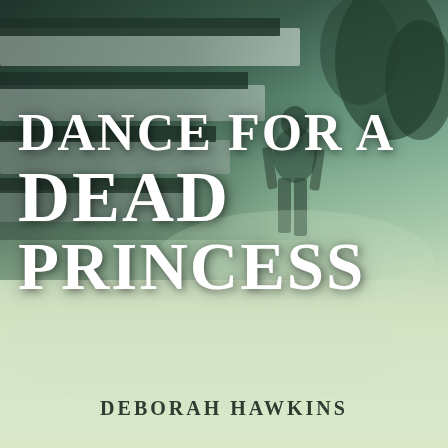[Figure (illustration): Book cover for 'Dance for a Dead Princess' by Deborah Hawkins. Background features a muted teal/green atmospheric scene. On the left side, overlapping piano keys in dark grey and white are faintly visible. On the right side, a lone figure seen from behind walks away into a misty, foggy landscape. Trees are dimly visible in the upper right. The overall mood is melancholic and mysterious.]
DANCE FOR A DEAD PRINCESS
DEBORAH HAWKINS